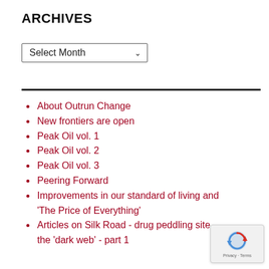ARCHIVES
Select Month
About Outrun Change
New frontiers are open
Peak Oil vol. 1
Peak Oil vol. 2
Peak Oil vol. 3
Peering Forward
Improvements in our standard of living and 'The Price of Everything'
Articles on Silk Road - drug peddling site the 'dark web' - part 1